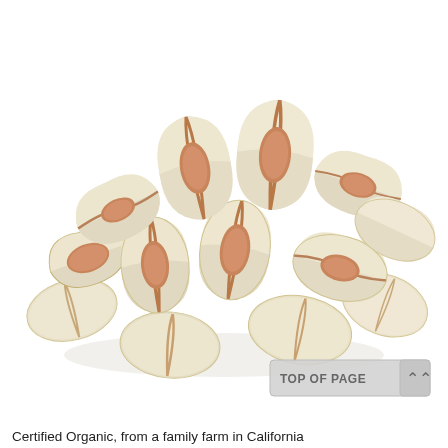[Figure (photo): A pile of organic pistachio nuts in their shells on a white background. The pistachios are open-shell, showing the pinkish-brown nut inside the beige shell.]
Certified Organic, from a family farm in California